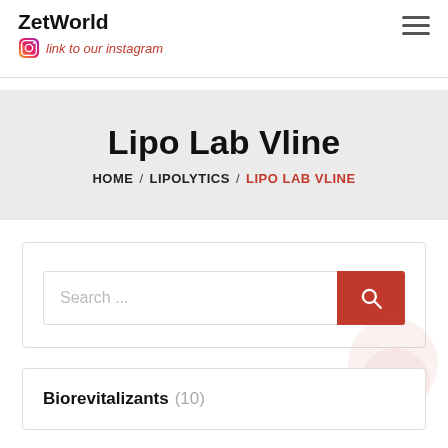ZetWorld — link to our instagram
Lipo Lab Vline
HOME / LIPOLYTICS / LIPO LAB VLINE
Search ...
Biorevitalizants (10)